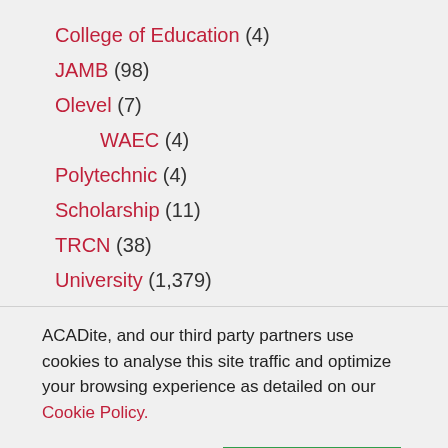College of Education (4)
JAMB (98)
Olevel (7)
WAEC (4)
Polytechnic (4)
Scholarship (11)
TRCN (38)
University (1,379)
ACADite, and our third party partners use cookies to analyse this site traffic and optimize your browsing experience as detailed on our Cookie Policy.
Set Preference | ACCEPT ALL